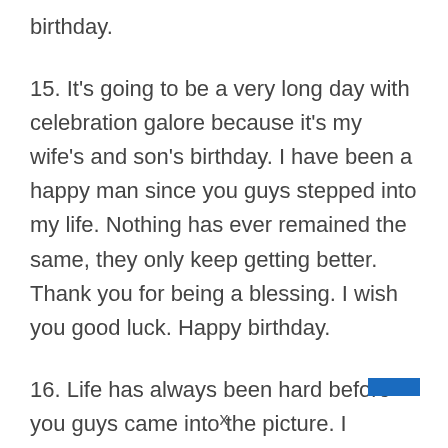birthday.
15. It's going to be a very long day with celebration galore because it's my wife's and son's birthday. I have been a happy man since you guys stepped into my life. Nothing has ever remained the same, they only keep getting better. Thank you for being a blessing. I wish you good luck. Happy birthday.
16. Life has always been hard before you guys came into the picture. I honestly don't know the
x